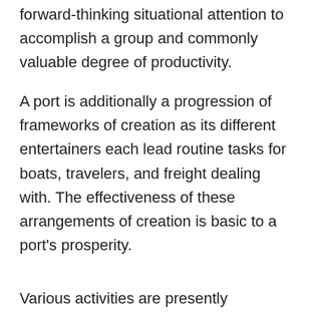forward-thinking situational attention to accomplish a group and commonly valuable degree of productivity.
A port is additionally a progression of frameworks of creation as its different entertainers each lead routine tasks for boats, travelers, and freight dealing with. The effectiveness of these arrangements of creation is basic to a port's prosperity.
Various activities are presently expanding upon the arising standards of computerized cooperation and normalized information sharing. The Port CDM idea, the UN/CEFACT Keen Compartment undertaking, and Port Call Enhancement, are generally models. Their motivation is to improve the speed and consistency of